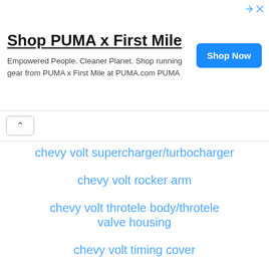[Figure (screenshot): Advertisement banner for PUMA x First Mile. Title: 'Shop PUMA x First Mile'. Body text: 'Empowered People. Cleaner Planet. Shop running gear from PUMA x First Mile at PUMA.com PUMA'. Blue 'Shop Now' button on the right. Ad attribution icons top right.]
chevy volt supercharger/turbocharger
chevy volt rocker arm
chevy volt throtele body/throtele valve housing
chevy volt timing cover
chevy volt thermostat housing